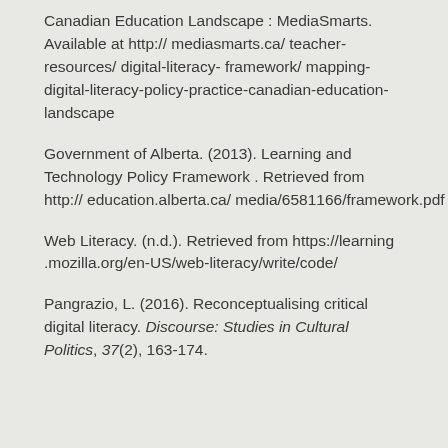Canadian Education Landscape : MediaSmarts. Available at http:// mediasmarts.ca/ teacher-resources/ digital-literacy- framework/ mapping-digital-literacy-policy-practice-canadian-education-landscape
Government of Alberta. (2013). Learning and Technology Policy Framework . Retrieved from http:// education.alberta.ca/ media/6581166/framework.pdf
Web Literacy. (n.d.). Retrieved from https://learning .mozilla.org/en-US/web-literacy/write/code/
Pangrazio, L. (2016). Reconceptualising critical digital literacy. Discourse: Studies in Cultural Politics, 37(2), 163-174.